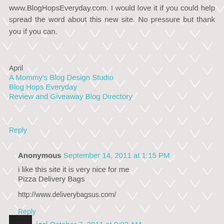www.BlogHopsEveryday.com.  I would love it if you could help spread the word about this new site. No pressure but thank you if you can.
April
A Mommy's Blog Design Studio
Blog Hops Everyday
Review and Giveaway Blog Directory
Reply
Anonymous  September 14, 2011 at 1:15 PM
i like this site it is very nice for me
Pizza Delivery Bags
http://www.deliverybagsus.com/
Reply
jori  October 7, 2011 at 9:02 AM